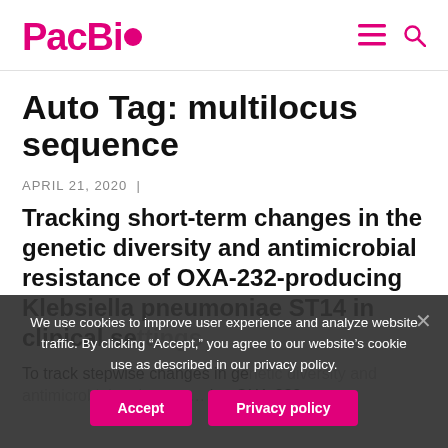PacBio
Auto Tag: multilocus sequence
APRIL 21, 2020 |
Tracking short-term changes in the genetic diversity and antimicrobial resistance of OXA-232-producing Klebsiella pneumoniae ST14 in clinical settings
To track stepwise changes in genetic diversity and antimicrobial resistance... producing OXA-232-
We use cookies to improve user experience and analyze website traffic. By clicking “Accept,” you agree to our website’s cookie use as described in our privacy policy.